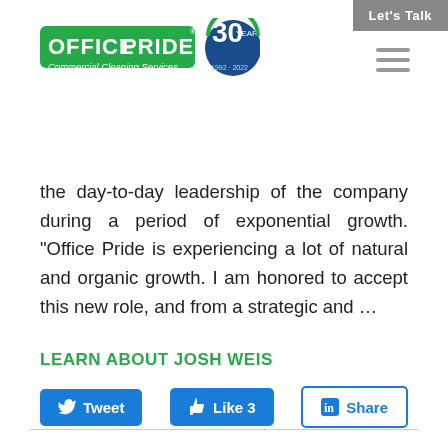Let's Talk
[Figure (logo): Office Pride Commercial Cleaning Services logo with 30 Years 1992-2022 badge]
the day-to-day leadership of the company during a period of exponential growth. "Office Pride is experiencing a lot of natural and organic growth. I am honored to accept this new role, and from a strategic and ...
LEARN ABOUT JOSH WEIS
[Figure (screenshot): Social sharing buttons: Tweet, Like 3, Share]